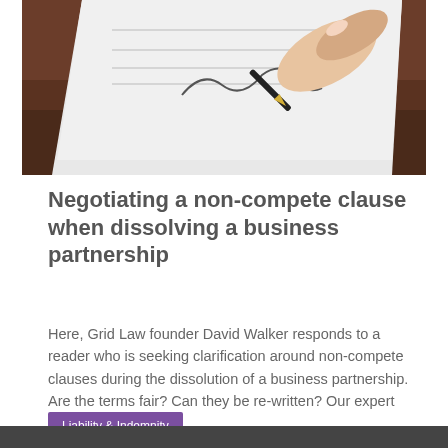[Figure (photo): A hand signing a document with a gold-tipped pen on a wooden table background]
Negotiating a non-compete clause when dissolving a business partnership
Here, Grid Law founder David Walker responds to a reader who is seeking clarification around non-compete clauses during the dissolution of a business partnership. Are the terms fair? Can they be re-written? Our expert explains. more»
Liability & Indemnity